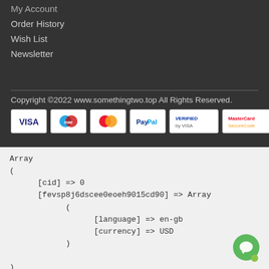My Account
Order History
Wish List
Newsletter
Copyright ©2022 www.somethingtwo.top All Rights Reserved.
[Figure (other): Payment method icons: VISA, Maestro, Mastercard, PayPal, Verified by VISA, MasterCard SecureCode]
Array
(
    [cid] => 0
    [fevsp8j6dscee0eoeh9015cd90] => Array
        (
            [language] => en-gb
            [currency] => USD
        )

)